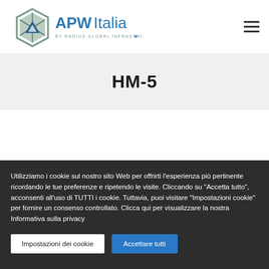APWItalia by Radius Global Infrastructure [logo + hamburger menu]
HM-5
Utilizziamo i cookie sul nostro sito Web per offrirti l'esperienza più pertinente ricordando le tue preferenze e ripetendo le visite. Cliccando su "Accetta tutto", acconsenti all'uso di TUTTI i cookie. Tuttavia, puoi visitare "Impostazioni cookie" per fornire un consenso controllato. Clicca qui per visualizzare la nostra Informativa sulla privacy
Impostazioni dei cookie
Accettare tutti